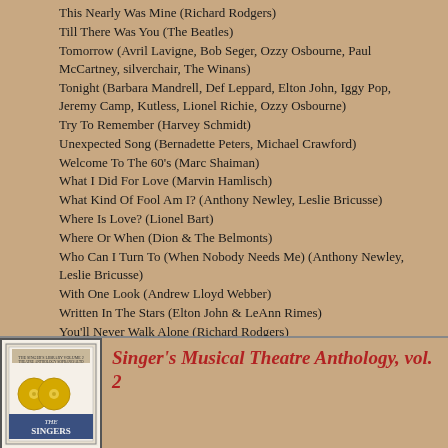This Nearly Was Mine (Richard Rodgers)
Till There Was You (The Beatles)
Tomorrow (Avril Lavigne, Bob Seger, Ozzy Osbourne, Paul McCartney, silverchair, The Winans)
Tonight (Barbara Mandrell, Def Leppard, Elton John, Iggy Pop, Jeremy Camp, Kutless, Lionel Richie, Ozzy Osbourne)
Try To Remember (Harvey Schmidt)
Unexpected Song (Bernadette Peters, Michael Crawford)
Welcome To The 60's (Marc Shaiman)
What I Did For Love (Marvin Hamlisch)
What Kind Of Fool Am I? (Anthony Newley, Leslie Bricusse)
Where Is Love? (Lionel Bart)
Where Or When (Dion & The Belmonts)
Who Can I Turn To (When Nobody Needs Me) (Anthony Newley, Leslie Bricusse)
With One Look (Andrew Lloyd Webber)
Written In The Stars (Elton John & LeAnn Rimes)
You'll Never Walk Alone (Richard Rodgers)
Younger Than Springtime (Gordon MacRae, Stan Kenton)
[Figure (photo): Cover image of Singer's Musical Theatre Anthology vol. 2 book with gold CDs]
Singer's Musical Theatre Anthology, vol. 2